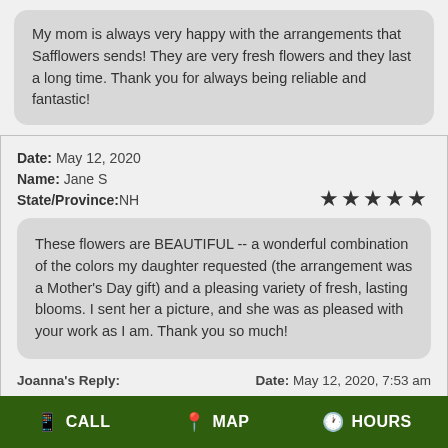My mom is always very happy with the arrangements that Safflowers sends! They are very fresh flowers and they last a long time. Thank you for always being reliable and fantastic!
Date: May 12, 2020
Name: Jane S
State/Province: NH
★★★★★
These flowers are BEAUTIFUL -- a wonderful combination of the colors my daughter requested (the arrangement was a Mother's Day gift) and a pleasing variety of fresh, lasting blooms. I sent her a picture, and she was as pleased with your work as I am. Thank you so much!
Joanna's Reply:   Date: May 12, 2020, 7:53 am
CALL   MAP   HOURS